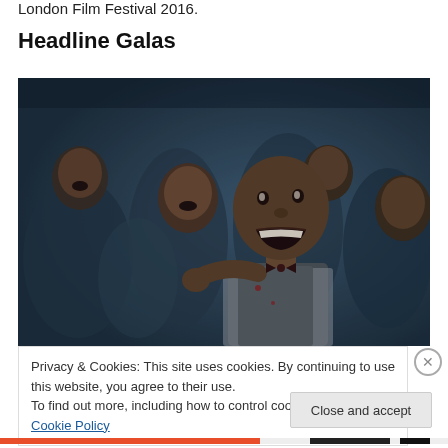London Film Festival 2016.
Headline Galas
[Figure (photo): Film still showing a group of men in period clothing, the foreground man shouting with an intense expression, appearing to be from a historical drama film]
Privacy & Cookies: This site uses cookies. By continuing to use this website, you agree to their use.
To find out more, including how to control cookies, see here: Cookie Policy
Close and accept